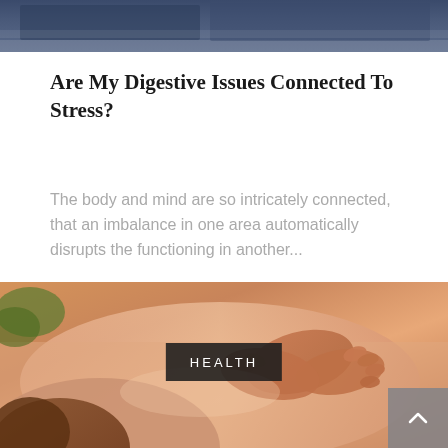[Figure (photo): Top portion of a blurred photo visible at the top of the page, showing what appears to be fabric or clothing in blue/dark tones]
Are My Digestive Issues Connected To Stress?
The body and mind are so intricately connected, that an imbalance in one area automatically disrupts the functioning in another...
[Figure (photo): A massage therapy scene showing hands performing a back massage on a person, warm orange/skin tones, with a HEALTH label overlay and a scroll-up button in the bottom right corner]